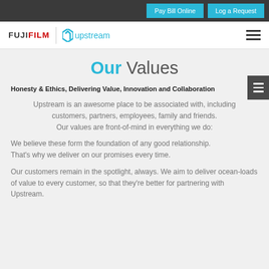Pay Bill Online | Log a Request
[Figure (logo): FUJIFILM and Upstream logos with hamburger menu]
Our Values
Honesty & Ethics, Delivering Value, Innovation and Collaboration
Upstream is an awesome place to be associated with, including customers, partners, employees, family and friends. Our values are front-of-mind in everything we do:
We believe these form the foundation of any good relationship. That's why we deliver on our promises every time.
Our customers remain in the spotlight, always. We aim to deliver ocean-loads of value to every customer, so that they're better for partnering with Upstream.